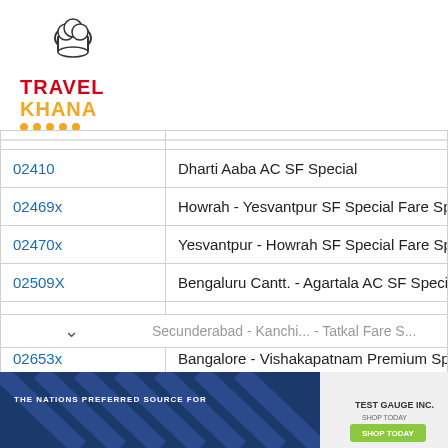[Figure (logo): TravelKhana logo with chef hat icon, red TRAVEL text and orange KHANA text with orange dots]
| Train No. | Train Name |
| --- | --- |
| 02410 | Dharti Aaba AC SF Special |
| 02469x | Howrah - Yesvantpur SF Special Fare Spec... |
| 02470x | Yesvantpur - Howrah SF Special Fare Spec... |
| 02509X | Bengaluru Cantt. - Agartala AC SF SpecialF... |
| 02524 | Howrah - Yesvantpur Humsafar SF Special... |
| 02653x | Bangalore - Vishakapatnam Premium Spec... |
| 02681X | Mysore - Varanasi Premium Special |
| 02759X | Kanchipuram - Secunderabad Tatkal Fare S... |
[Figure (illustration): Test Gauge Inc. advertisement banner at bottom of page]